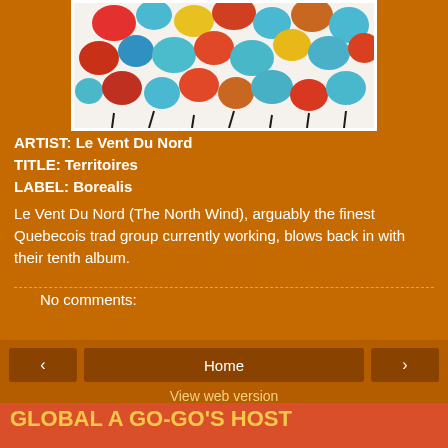[Figure (illustration): Colorful abstract painting with red, blue, teal, yellow, orange and brown rounded shapes scattered across a white background]
ARTIST: Le Vent Du Nord
TITLE: Territoires
LABEL: Borealis
Le Vent Du Nord (The North Wind), arguably the finest Quebecois trad group currently working, blows back in with their tenth album.
No comments:
‹   Home   ›
View web version
GLOBAL A GO-GO'S HOST